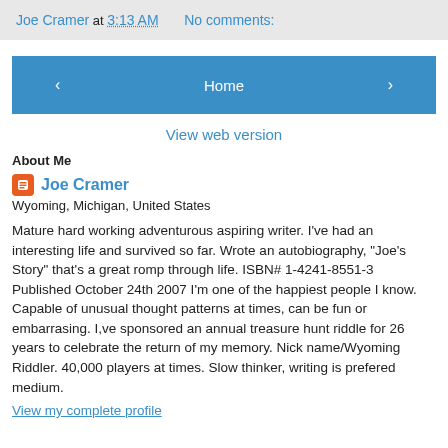Joe Cramer at 3:13 AM   No comments:
[Figure (other): Navigation bar with back arrow button, Home button, and forward arrow button]
View web version
About Me
Joe Cramer
Wyoming, Michigan, United States
Mature hard working adventurous aspiring writer. I've had an interesting life and survived so far. Wrote an autobiography, "Joe's Story" that's a great romp through life. ISBN# 1-4241-8551-3 Published October 24th 2007 I'm one of the happiest people I know. Capable of unusual thought patterns at times, can be fun or embarrasing. I,ve sponsored an annual treasure hunt riddle for 26 years to celebrate the return of my memory. Nick name/Wyoming Riddler. 40,000 players at times. Slow thinker, writing is prefered medium.
View my complete profile